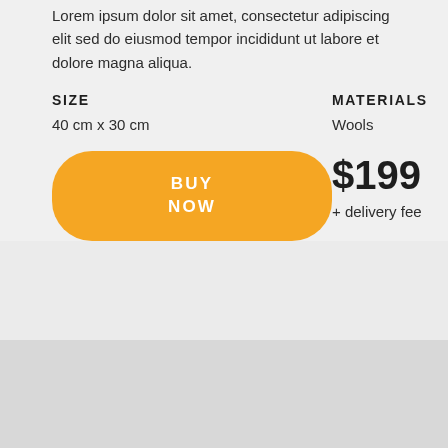Lorem ipsum dolor sit amet, consectetur adipiscing elit sed do eiusmod tempor incididunt ut labore et dolore magna aliqua.
SIZE
40 cm x 30 cm
MATERIALS
Wools
BUY NOW
$199
+ delivery fee